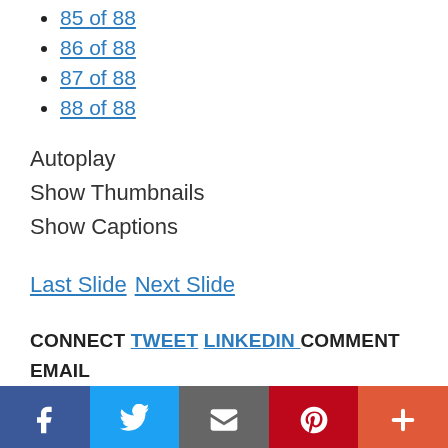85 of 88
86 of 88
87 of 88
88 of 88
Autoplay
Show Thumbnails
Show Captions
Last Slide  Next Slide
CONNECT TWEET LINKEDIN COMMENT EMAIL MORE
[Figure (infographic): Social media sharing bar with Facebook, Twitter, Email, Pinterest, and More buttons]